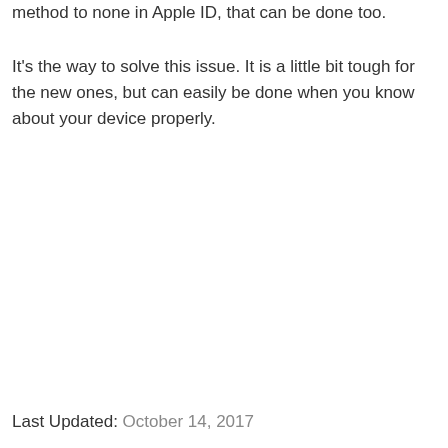method to none in Apple ID, that can be done too.
It's the way to solve this issue. It is a little bit tough for the new ones, but can easily be done when you know about your device properly.
Last Updated: October 14, 2017